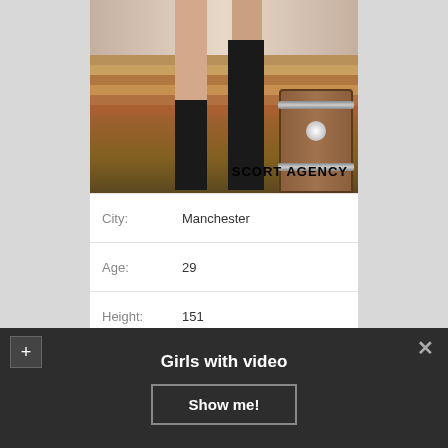[Figure (photo): Photo of a person's legs wearing black knee-high socks, standing near wooden steps and a barrel, with watermark text 'ESCORT AGENCY']
| City: | Manchester |
| Age: | 29 |
| Height: | 151 |
Girls with video
Show me!